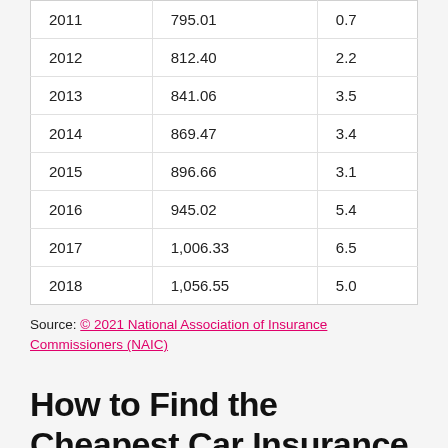| 2011 | 795.01 | 0.7 |
| 2012 | 812.40 | 2.2 |
| 2013 | 841.06 | 3.5 |
| 2014 | 869.47 | 3.4 |
| 2015 | 896.66 | 3.1 |
| 2016 | 945.02 | 5.4 |
| 2017 | 1,006.33 | 6.5 |
| 2018 | 1,056.55 | 5.0 |
Source: © 2021 National Association of Insurance Commissioners (NAIC)
How to Find the Cheapest Car Insurance